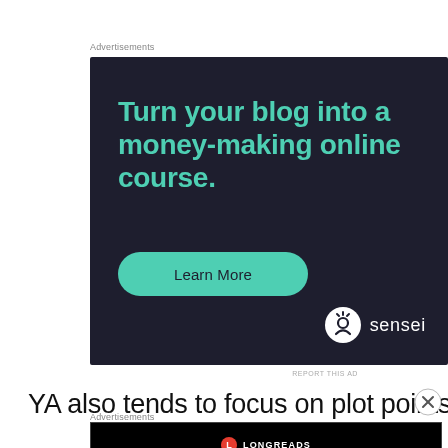Advertisements
[Figure (illustration): Sensei advertisement: dark navy background with teal headline text 'Turn your blog into a money-making online course.' and a teal 'Learn More' button, Sensei logo bottom right.]
REPORT THIS AD
YA also tends to focus on plot points that deal
Advertisements
[Figure (illustration): Longreads advertisement bar: black background with Longreads logo and text 'Read anything great lately?']